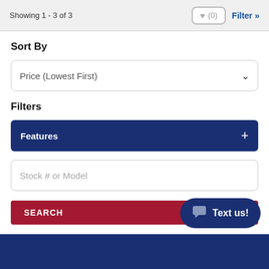Showing 1 - 3 of 3
♥ (0)
Filter »
Sort By
Price (Lowest First)
Filters
Features +
Stock # or Model
SEARCH
Text us!